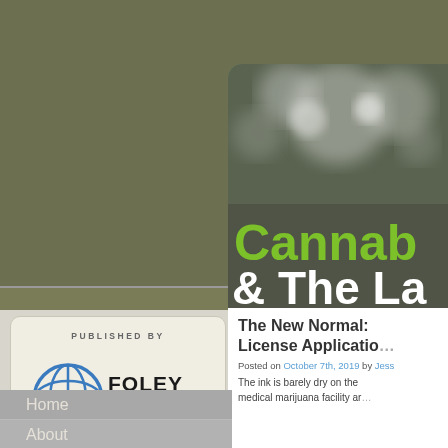[Figure (screenshot): Foley Hoag LLP published by logo in sidebar card with globe icon and text]
[Figure (photo): Blurred background photo of cannabis-related items with green text 'Cannab' and white text '& The La' overlaid]
Home
About
Contact
Archives
The New Normal License Applicatio
Posted on October 7th, 2019 by Jess
The ink is barely dry on the medical marijuana facility ar